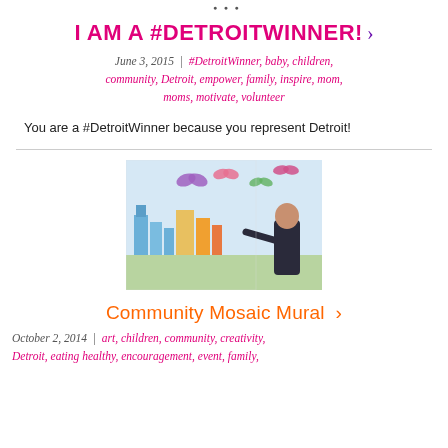social links / navigation icons
I AM A #DETROITWINNER! >
June 3, 2015  |  #DetroitWinner, baby, children, community, Detroit, empower, family, inspire, mom, moms, motivate, volunteer
You are a #DetroitWinner because you represent Detroit!
[Figure (photo): Person painting a colorful community mosaic mural with butterflies and cityscape]
Community Mosaic Mural >
October 2, 2014  |  art, children, community, creativity, Detroit, eating healthy, encouragement, event, family,